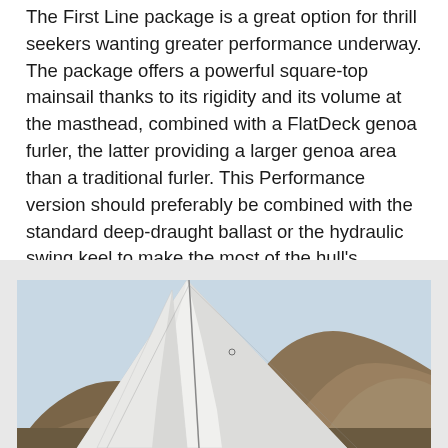The First Line package is a great option for thrill seekers wanting greater performance underway. The package offers a powerful square-top mainsail thanks to its rigidity and its volume at the masthead, combined with a FlatDeck genoa furler, the latter providing a larger genoa area than a traditional furler. This Performance version should preferably be combined with the standard deep-draught ballast or the hydraulic swing keel to make the most of the hull's potential.
[Figure (photo): Photograph of a sailing yacht with large white sails billowing, set against a backdrop of arid brown hills and blue sky. The image shows a close-up of the sails from below, emphasizing the sail area and rigging.]